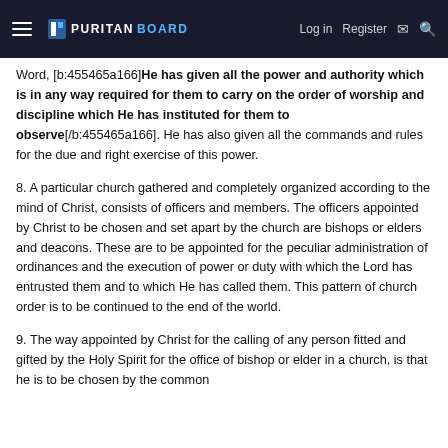PURITANBOARD — Log in | Register
Word, [b:455465a166]He has given all the power and authority which is in any way required for them to carry on the order of worship and discipline which He has instituted for them to observe[/b:455465a166]. He has also given all the commands and rules for the due and right exercise of this power.
8. A particular church gathered and completely organized according to the mind of Christ, consists of officers and members. The officers appointed by Christ to be chosen and set apart by the church are bishops or elders and deacons. These are to be appointed for the peculiar administration of ordinances and the execution of power or duty with which the Lord has entrusted them and to which He has called them. This pattern of church order is to be continued to the end of the world.
9. The way appointed by Christ for the calling of any person fitted and gifted by the Holy Spirit for the office of bishop or elder in a church, is that he is to be chosen by the common